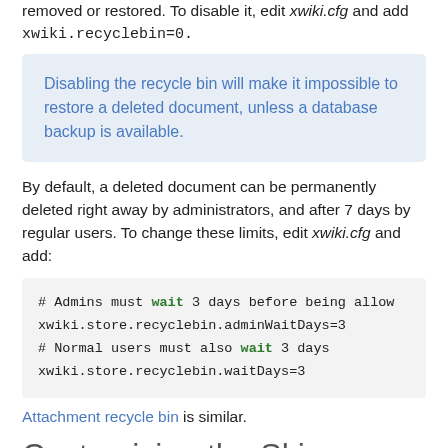removed or restored. To disable it, edit xwiki.cfg and add xwiki.recyclebin=0.
Disabling the recycle bin will make it impossible to restore a deleted document, unless a database backup is available.
By default, a deleted document can be permanently deleted right away by administrators, and after 7 days by regular users. To change these limits, edit xwiki.cfg and add:
# Admins must wait 3 days before being allow
xwiki.store.recyclebin.adminWaitDays=3
# Normal users must also wait 3 days
xwiki.store.recyclebin.waitDays=3
Attachment recycle bin is similar.
Customizing the Skin